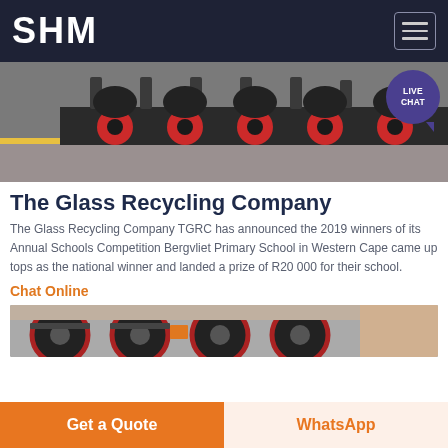SHM
[Figure (photo): Industrial machinery with black components and red wheels on a production floor]
The Glass Recycling Company
The Glass Recycling Company TGRC has announced the 2019 winners of its Annual Schools Competition Bergvliet Primary School in Western Cape came up tops as the national winner and landed a prize of R20 000 for their school.
Chat Online
[Figure (photo): Industrial machinery with large black and red wheels]
Get a Quote
WhatsApp